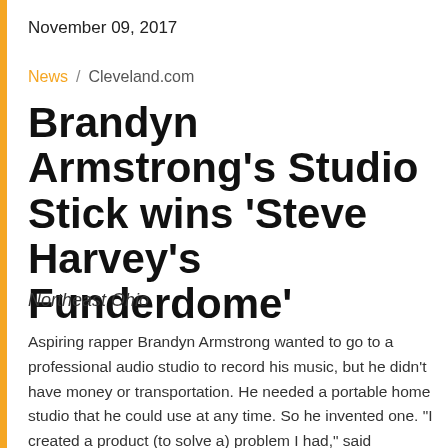November 09, 2017
News / Cleveland.com
Brandyn Armstrong's Studio Stick wins 'Steve Harvey's Funderdome'
Northeast Ohio
Aspiring rapper Brandyn Armstrong wanted to go to a professional audio studio to record his music, but he didn't have money or transportation. He needed a portable home studio that he could use at any time. So he invented one. "I created a product (to solve a) problem I had," said Armstrong, 25, of … Read More